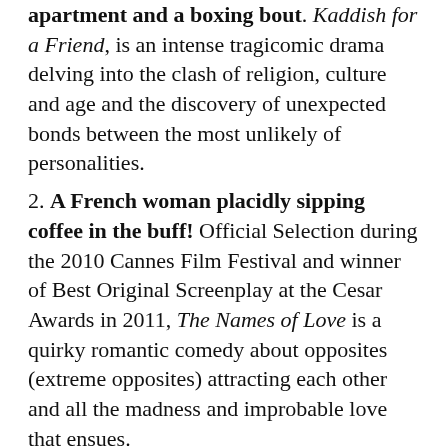apartment and a boxing bout. Kaddish for a Friend, is an intense tragicomic drama delving into the clash of religion, culture and age and the discovery of unexpected bonds between the most unlikely of personalities.
2. A French woman placidly sipping coffee in the buff! Official Selection during the 2010 Cannes Film Festival and winner of Best Original Screenplay at the Cesar Awards in 2011, The Names of Love is a quirky romantic comedy about opposites (extreme opposites) attracting each other and all the madness and improbable love that ensues.
1. A six-time Israeli Academy Award nominated film. Mabul follows the complicated life of Yoni as he struggles to prepare for his Bar Mitzvah. In the midst of family crisis, his 17-year-old autistic brother is sent back home further complicating the family's strained dynamics. Hailed as one of the best Israeli films of the year, Mabul is the closing celebration of this